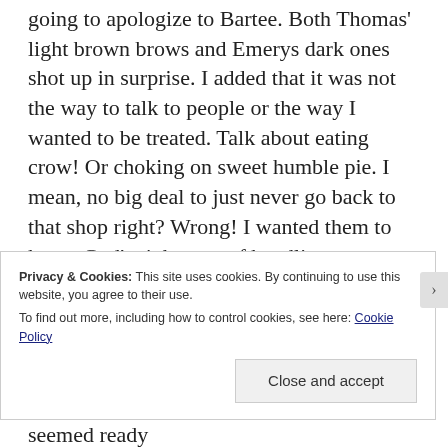going to apologize to Bartee. Both Thomas' light brown brows and Emerys dark ones shot up in surprise. I added that it was not the way to talk to people or the way I wanted to be treated. Talk about eating crow! Or choking on sweet humble pie. I mean, no big deal to just never go back to that shop right? Wrong! I wanted them to know God's right way of handling situations. I do have to say I'm glad they weren't with me as I swallowed that piece of pie.

Dennis saw me as I pulled up and he seemed ready
Privacy & Cookies: This site uses cookies. By continuing to use this website, you agree to their use.
To find out more, including how to control cookies, see here: Cookie Policy
Close and accept